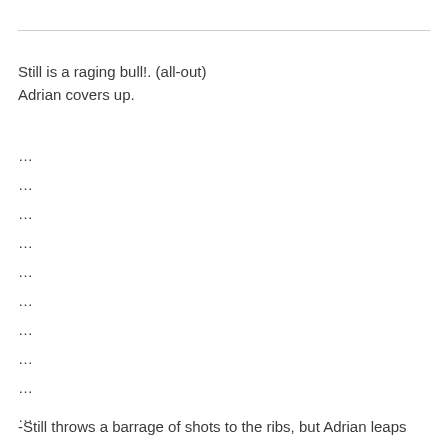Still is a raging bull!. (all-out)
Adrian covers up.
...
...
...
...
...
...
...
...
...
...
...
...
-Still throws a barrage of shots to the ribs, but Adrian leaps